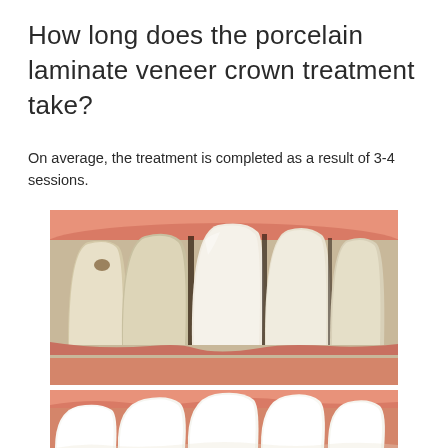How long does the porcelain laminate veneer crown treatment take?
On average, the treatment is completed as a result of 3-4 sessions.
[Figure (photo): Close-up clinical photograph of teeth before porcelain laminate veneer crown treatment, showing teeth with gaps, discoloration and uneven surfaces against pink gum tissue.]
[Figure (photo): Close-up clinical photograph of teeth after porcelain laminate veneer crown treatment, showing uniformly white and even teeth with improved appearance against pink gum tissue.]